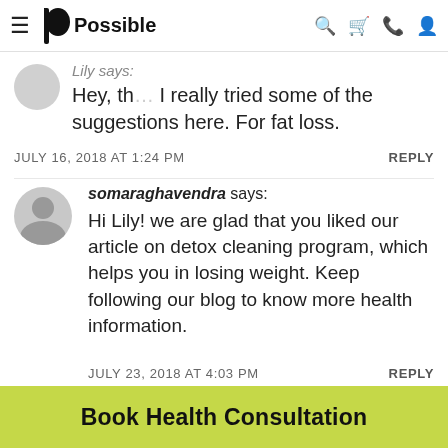Possible — navigation bar with hamburger menu, logo, search, cart, phone, and user icons
Lily says: Hey, th… I really tried some of the suggestions here. For fat loss.
JULY 16, 2018 AT 1:24 PM   REPLY
somaraghavendra says: Hi Lily! we are glad that you liked our article on detox cleaning program, which helps you in losing weight. Keep following our blog to know more health information.
JULY 23, 2018 AT 4:03 PM   REPLY
Vikas gupta says:
Book Health Consultation